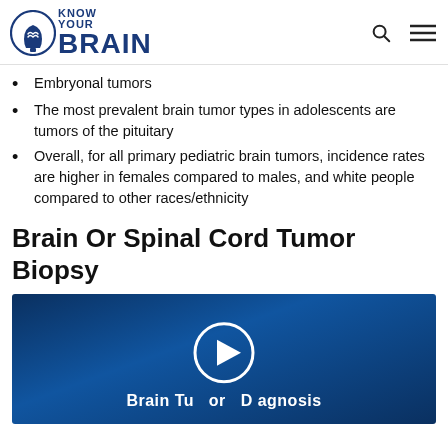Know Your Brain
Embryonal tumors
The most prevalent brain tumor types in adolescents are tumors of the pituitary
Overall, for all primary pediatric brain tumors, incidence rates are higher in females compared to males, and white people compared to other races/ethnicity
Brain Or Spinal Cord Tumor Biopsy
[Figure (screenshot): Video thumbnail with dark blue background showing 'Brain Tumor Diagnosis' title text and a play button circle in the center]